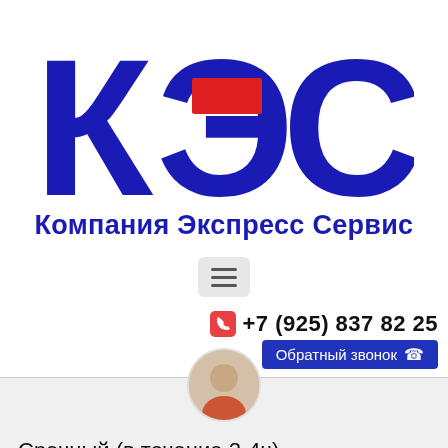[Figure (logo): КЭС logo — large bold Cyrillic letters К, Э, С in dark navy blue with a red rectangle accent on the Э letter]
Компания Экспресс Сервис
[Figure (screenshot): Hamburger menu button (three horizontal lines) on a light grey rounded rectangle background]
+7 (925) 837 82 25
Обратный звонок
[Figure (photo): Circular avatar photo showing a person partially visible]
Срочный (в течение 2-4ч)